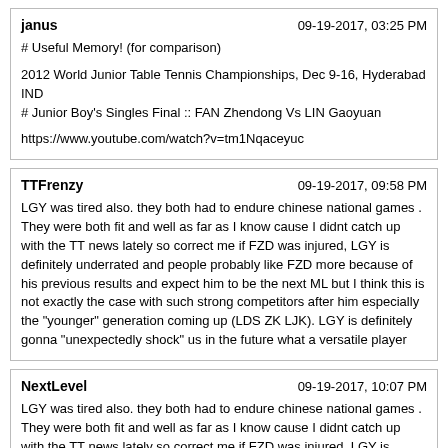janus | 09-19-2017, 03:25 PM
# Useful Memory! (for comparison)

2012 World Junior Table Tennis Championships, Dec 9-16, Hyderabad IND
# Junior Boy's Singles Final :: FAN Zhendong Vs LIN Gaoyuan

https://www.youtube.com/watch?v=tm1Nqaceyuc
TTFrenzy | 09-19-2017, 09:58 PM
LGY was tired also. they both had to endure chinese national games . They were both fit and well as far as I know cause I didnt catch up with the TT news lately so correct me if FZD was injured, LGY is definitely underrated and people probably like FZD more because of his previous results and expect him to be the next ML but I think this is not exactly the case with such strong competitors after him especially the "younger" generation coming up (LDS ZK LJK). LGY is definitely gonna "unexpectedly shock" us in the future what a versatile player
NextLevel | 09-19-2017, 10:07 PM
LGY was tired also. they both had to endure chinese national games . They were both fit and well as far as I know cause I didnt catch up with the TT news lately so correct me if FZD was injured, LGY is definitely underrated and people probably like FZD more because of his previous results and expect him to be the next ML but I think this is not exactly the case with such strong competitors after him especially the "younger" generation coming up (LDS ZK LJK). LGY is definitely gonna "unexpectedly shock" us in the future what a versatile player

LGY didn't play the singles event at National games because he didn't qualify - basically, FZD almost played every round of every event he was eligible for at a high level (he only went out "early" in XD). You can be very fit, but you are still human - rest matters and wear and tear happens over time if you don't get